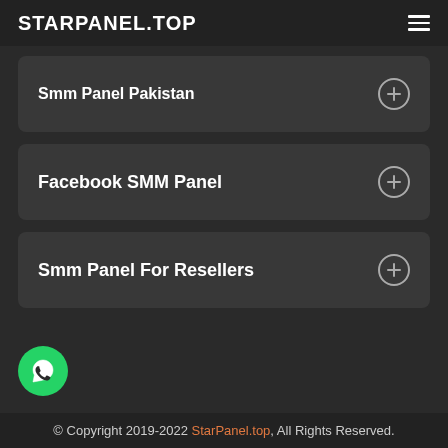STARPANEL.TOP
Smm Panel Pakistan
Facebook SMM Panel
Smm Panel For Resellers
© Copyright 2019-2022 StarPanel.top, All Rights Reserved.